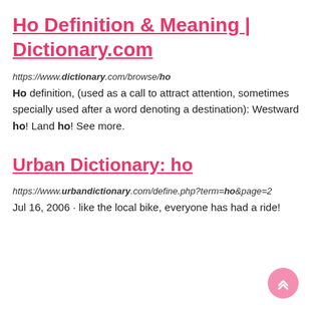Ho Definition & Meaning | Dictionary.com
https://www.dictionary.com/browse/ho
Ho definition, (used as a call to attract attention, sometimes specially used after a word denoting a destination): Westward ho! Land ho! See more.
Urban Dictionary: ho
https://www.urbandictionary.com/define.php?term=ho&page=2
Jul 16, 2006 · like the local bike, everyone has had a ride!